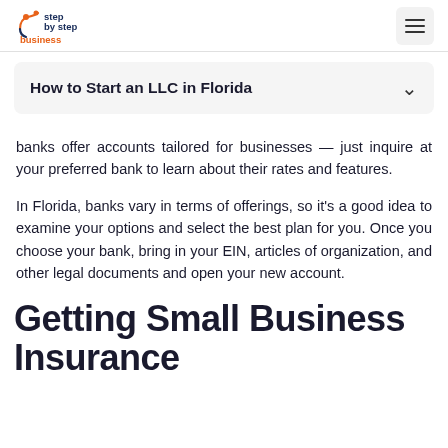step by step business
How to Start an LLC in Florida
banks offer accounts tailored for businesses — just inquire at your preferred bank to learn about their rates and features.
In Florida, banks vary in terms of offerings, so it's a good idea to examine your options and select the best plan for you. Once you choose your bank, bring in your EIN, articles of organization, and other legal documents and open your new account.
Getting Small Business Insurance